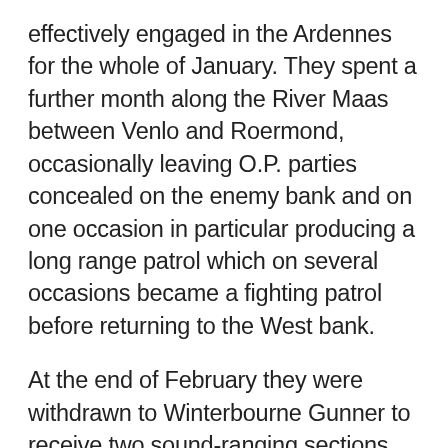effectively engaged in the Ardennes for the whole of January. They spent a further month along the River Maas between Venlo and Roermond, occasionally leaving O.P. parties concealed on the enemy bank and on one occasion in particular producing a long range patrol which on several occasions became a fighting patrol before returning to the West bank.
At the end of February they were withdrawn to Winterbourne Gunner to receive two sound-ranging sections and organise them on a jeep basis. Two days later these Sections left again for Germany. Meanwhile the rest of the F.O.U. had a quick leave, and then prepared for the Airborne Assault across the Rhine, arriving at their transit camps on 19th March with wireless sets netted